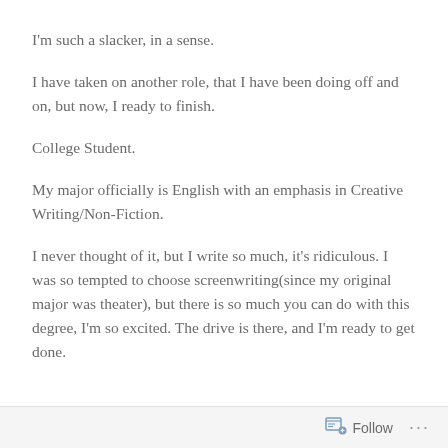I'm such a slacker, in a sense.
I have taken on another role, that I have been doing off and on, but now, I ready to finish.
College Student.
My major officially is English with an emphasis in Creative Writing/Non-Fiction.
I never thought of it, but I write so much, it's ridiculous. I was so tempted to choose screenwriting(since my original major was theater), but there is so much you can do with this degree, I'm so excited. The drive is there, and I'm ready to get done.
Follow ...